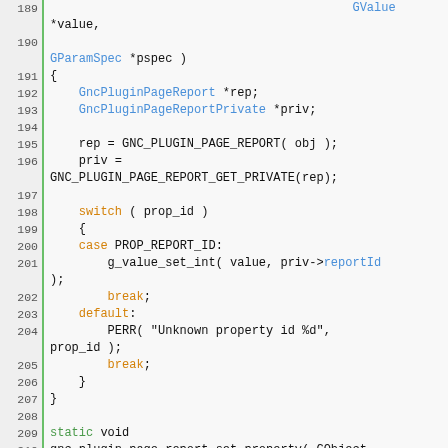[Figure (screenshot): Source code listing lines 189–214 of a C file showing GObject property getter and setter functions for GncPluginPageReport, with syntax highlighting: type names in blue, keywords in orange, storage class specifiers in green.]